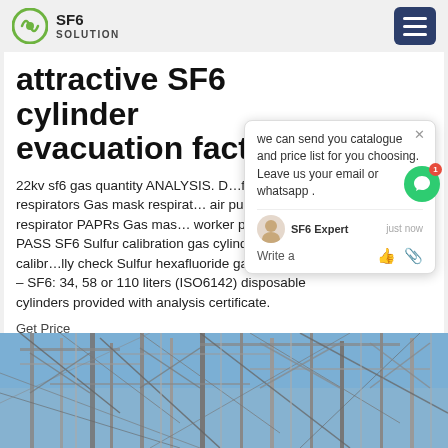SF6 SOLUTION
attractive SF6 cylinder evacuation factory
22kv sf6 gas quantity ANALYSIS. D... f mask respirators Gas mask respirat... air purifying respirator PAPRs Gas mas... worker protection PASS SF6 Sulfur calibration gas cylinder to calibrate a...lly check Sulfur hexafluoride gas detectors – SF6: 34, 58 or 110 liters (ISO6142) disposable cylinders provided with analysis certificate.
Get Price
[Figure (photo): Electrical substation infrastructure with transmission towers and power lines against a blue sky]